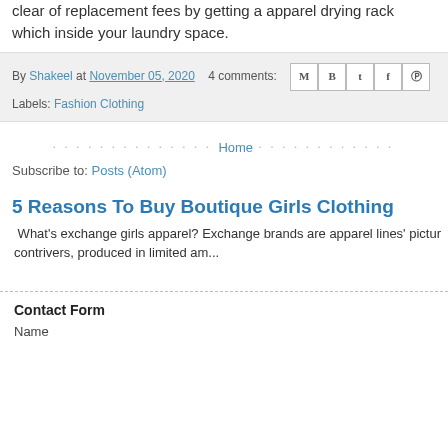clear of replacement fees by getting a apparel drying rack which inside your laundry space.
By Shakeel at November 05, 2020   4 comments:  [social icons] Labels: Fashion Clothing
Home
Subscribe to: Posts (Atom)
5 Reasons To Buy Boutique Girls Clothing
What's exchange girls apparel? Exchange brands are apparel lines' pictur contrivers, produced in limited am...
Contact Form
Name